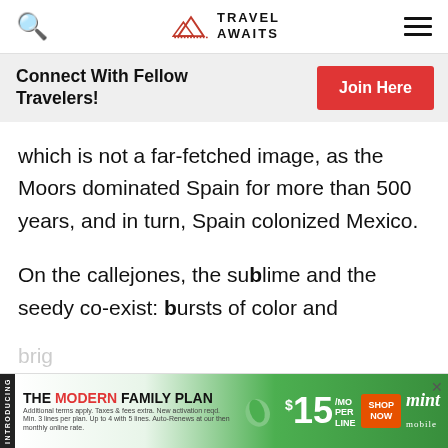Travel Awaits – navigation bar with search and menu icons
Connect With Fellow Travelers!
Join Here
which is not a far-fetched image, as the Moors dominated Spain for more than 500 years, and in turn, Spain colonized Mexico.
On the callejones, the sublime and the seedy co-exist: bursts of color and brig…
[Figure (screenshot): Advertisement banner for Mint Mobile's Modern Family Plan, $15/mo per line, with Shop Now button]